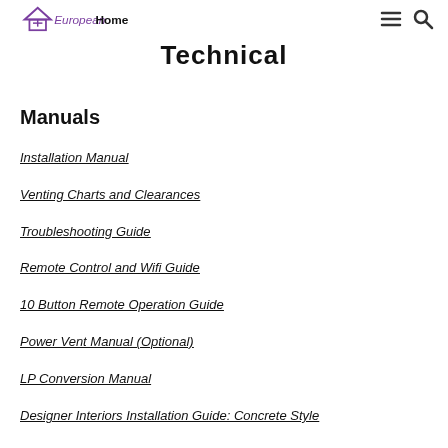EuropeanHome — Technical
Technical
Manuals
Installation Manual
Venting Charts and Clearances
Troubleshooting Guide
Remote Control and Wifi Guide
10 Button Remote Operation Guide
Power Vent Manual (Optional)
LP Conversion Manual
Designer Interiors Installation Guide: Concrete Style